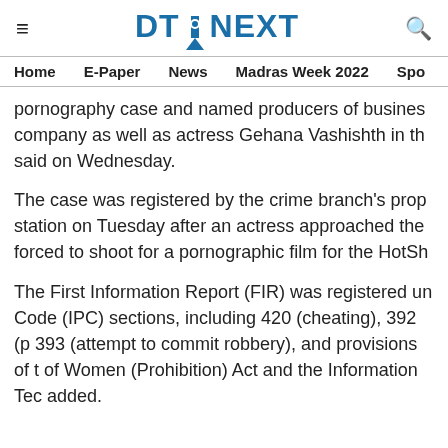DT NEXT
Home   E-Paper   News   Madras Week 2022   Spo
pornography case and named producers of business company as well as actress Gehana Vashishth in th said on Wednesday.
The case was registered by the crime branch's prop station on Tuesday after an actress approached the forced to shoot for a pornographic film for the HotSh
The First Information Report (FIR) was registered un Code (IPC) sections, including 420 (cheating), 392 (p 393 (attempt to commit robbery), and provisions of t of Women (Prohibition) Act and the Information Tec added.